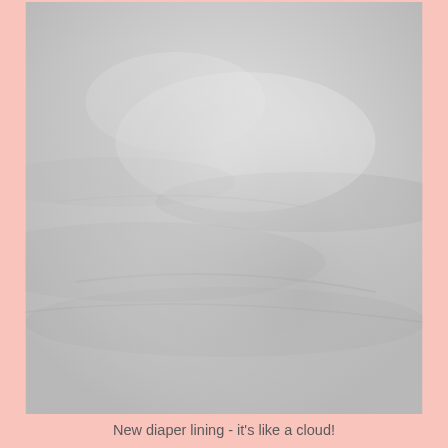[Figure (photo): Close-up photo of soft, cloud-like white/light grey diaper lining fabric with gentle folds and shadows]
New diaper lining - it's like a cloud!
[Figure (photo): Side-by-side comparison photo of two fabric textures: left side shows tan/beige textured fabric (old material), right side shows smooth light grey/blue fabric (new lining), divided by a dark vertical seam line]